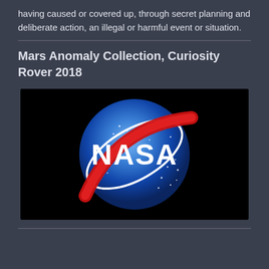having caused or covered up, through secret planning and deliberate action, an illegal or harmful event or situation.
Mars Anomaly Collection, Curiosity Rover 2018
[Figure (logo): NASA logo on black background: blue sphere with white 'NASA' text and white orbital ring with red swoosh.]